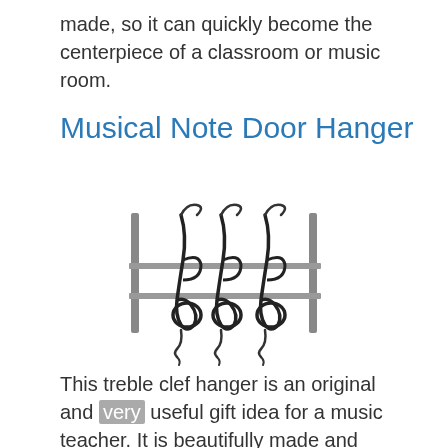made, so it can quickly become the centerpiece of a classroom or music room.
Musical Note Door Hanger
[Figure (photo): A metal treble clef door hanger with three treble clef shaped hooks mounted on a horizontal bar with two vertical support brackets.]
This treble clef hanger is an original and very useful gift idea for a music teacher. It is beautifully made and portable and doesn't